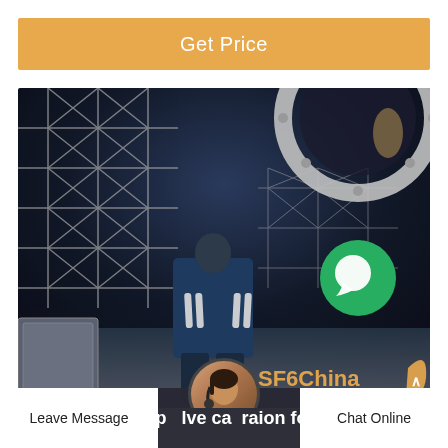Get Price
[Figure (photo): Industrial interior photograph showing scaffolding/structural framework inside a large vessel or tank, with a worker in reflective safety gear visible. A circular hatch or flange is visible at the top right. A green chat icon overlay is present. SF6China watermark in orange text at bottom right.]
Leave Message
cap   lve ca  raion fo
Chat Online